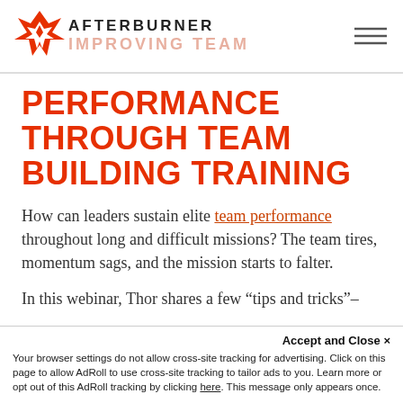[Figure (logo): Afterburner logo: orange arrow/star geometric icon with AFTERBURNER text and IMPROVING TEAM tagline]
PERFORMANCE THROUGH TEAM BUILDING TRAINING
How can leaders sustain elite team performance throughout long and difficult missions? The team tires, momentum sags, and the mission starts to falter.
In this webinar, Thor shares a few “tips and tricks” – strategies and team building training ideas that reclaim
Accept and Close ×
Your browser settings do not allow cross-site tracking for advertising. Click on this page to allow AdRoll to use cross-site tracking to tailor ads to you. Learn more or opt out of this AdRoll tracking by clicking here. This message only appears once.